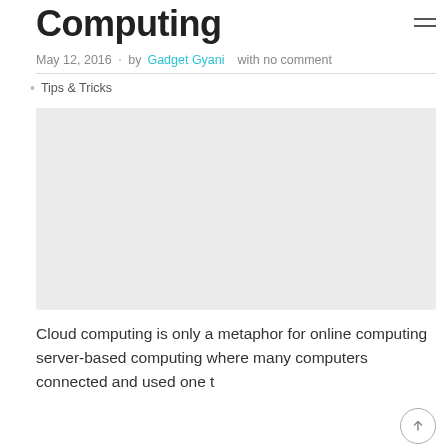Computing
May 12, 2016  ·  by Gadget Gyani  with no comment
Tips & Tricks
[Figure (photo): Large placeholder image area (light grey rectangle) for the cloud computing article featured image]
Cloud computing is only a metaphor for online computing server-based computing where many computers connected and used one t…